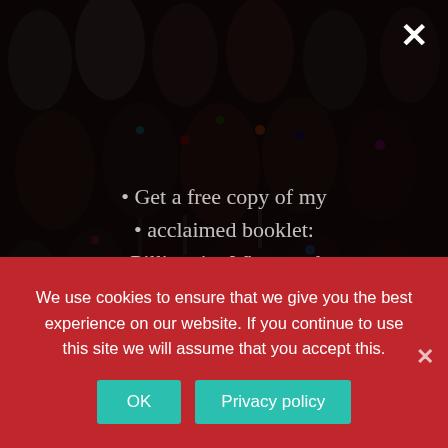[Figure (photo): Dark background showing overhead view of multiple wine glasses arranged on a table, with semi-transparent dark overlay applied over the image.]
Get a free copy of my acclaimed booklet:
Billionaire Wines and Their Less Expensive Substitutes
We use cookies to ensure that we give you the best experience on our website. If you continue to use this site we will assume that you accept this.
OK
Privacy policy